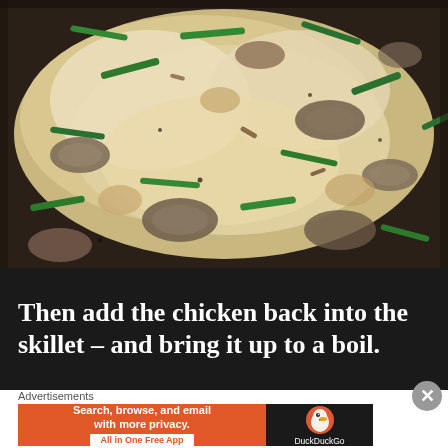[Figure (photo): Close-up photo of a creamy skillet dish with mushrooms, green beans/asparagus pieces, and chicken in a light cream sauce, cooking in a dark pan]
Then add the chicken back into the skillet – and bring it up to a boil.
Advertisements
[Figure (screenshot): DuckDuckGo advertisement banner: orange left panel with text 'Search, browse, and email with more privacy. All in One Free App' and dark right panel with DuckDuckGo duck logo and text 'DuckDuckGo']